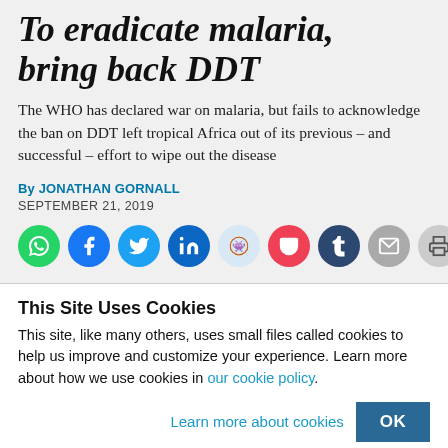To eradicate malaria, bring back DDT
The WHO has declared war on malaria, but fails to acknowledge the ban on DDT left tropical Africa out of its previous – and successful – effort to wipe out the disease
By JONATHAN GORNALL
SEPTEMBER 21, 2019
[Figure (other): Social sharing buttons: WhatsApp, Facebook, Twitter, LinkedIn, Reddit, Pocket, Tumblr, Email, Print]
This Site Uses Cookies
This site, like many others, uses small files called cookies to help us improve and customize your experience. Learn more about how we use cookies in our cookie policy.
Learn more about cookies   OK